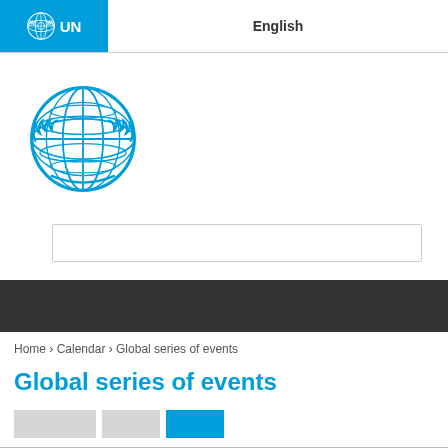UN  English
[Figure (logo): United Nations emblem logo in blue]
[Figure (screenshot): Search input box]
[Figure (screenshot): Dark navigation band]
Home › Calendar › Global series of events
Global series of events
[Figure (screenshot): Filter tabs row: two gray tabs and one blue tab]